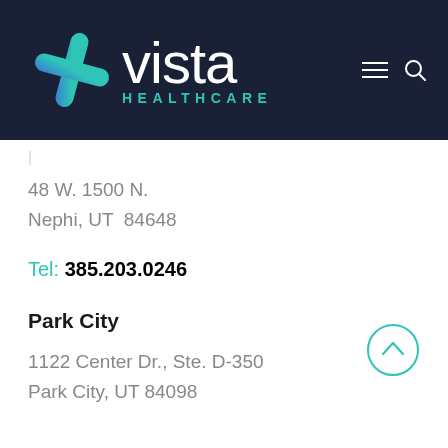[Figure (logo): Vista Healthcare logo with teal plus-sign icon, 'vista' in white and 'HEALTHCARE' in teal, on dark navy background. Hamburger menu and search icons in top right.]
48 W. 1500 N.
Nephi, UT  84648
Tel: 385.203.0246
Park City
1122 Center Dr., Ste. D-350
Park City, UT 84098